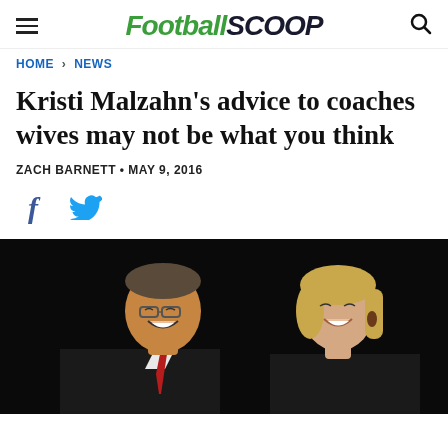FootballScoop
HOME > NEWS
Kristi Malzahn's advice to coaches wives may not be what you think
ZACH BARNETT • MAY 9, 2016
[Figure (other): Social sharing icons: Facebook and Twitter]
[Figure (photo): A man and woman smiling and clapping against a dark background. The man is on the left wearing glasses and a dark suit with red tie; the woman is on the right with blonde hair.]